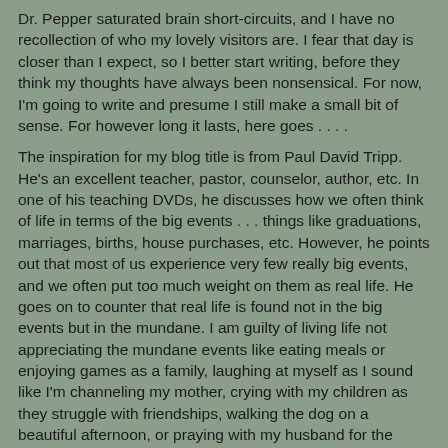Dr. Pepper saturated brain short-circuits, and I have no recollection of who my lovely visitors are. I fear that day is closer than I expect, so I better start writing, before they think my thoughts have always been nonsensical. For now, I'm going to write and presume I still make a small bit of sense. For however long it lasts, here goes . . . .
The inspiration for my blog title is from Paul David Tripp. He's an excellent teacher, pastor, counselor, author, etc. In one of his teaching DVDs, he discusses how we often think of life in terms of the big events . . . things like graduations, marriages, births, house purchases, etc. However, he points out that most of us experience very few really big events, and we often put too much weight on them as real life. He goes on to counter that real life is found not in the big events but in the mundane. I am guilty of living life not appreciating the mundane events like eating meals or enjoying games as a family, laughing at myself as I sound like I'm channeling my mother, crying with my children as they struggle with friendships, walking the dog on a beautiful afternoon, or praying with my husband for the hearts and futures of our children.